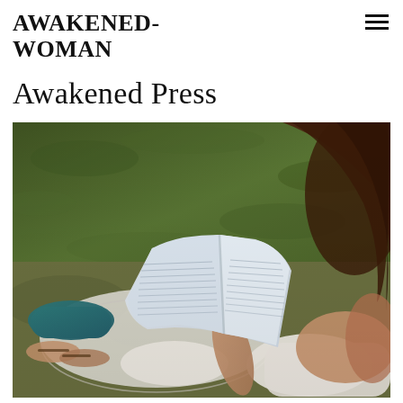AWAKENED-WOMAN
Awakened Press
[Figure (photo): Woman lying on a blanket outdoors on grass, reading an open book. She has brown hair and is wearing teal/turquoise pants and sandals. Shot from above and behind. The book pages are white with printed text.]